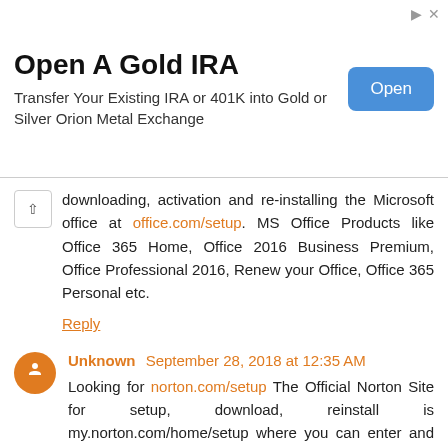[Figure (infographic): Advertisement banner for 'Open A Gold IRA' with text 'Transfer Your Existing IRA or 401K into Gold or Silver Orion Metal Exchange' and a blue 'Open' button on the right.]
downloading, activation and re-installing the Microsoft office at office.com/setup. MS Office Products like Office 365 Home, Office 2016 Business Premium, Office Professional 2016, Renew your Office, Office 365 Personal etc.
Reply
Unknown September 28, 2018 at 12:35 AM
Looking for norton.com/setup The Official Norton Site for setup, download, reinstall is my.norton.com/home/setup where you can enter and activate your product key to setup your account.
Reply
Unknown September 28, 2018 at 10:37 AM